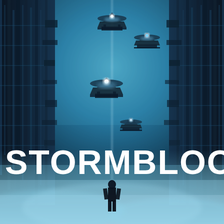[Figure (illustration): Science fiction book cover showing a futuristic cityscape with massive dark towering structures on both sides forming a corridor. Multiple large alien or futuristic warships hover in a blue-lit atmospheric sky. A lone human silhouette stands at the bottom center looking up at the ships, surrounded by mist/fog. The overall color palette is deep blue and teal. The title 'STORMBLOOD' is displayed in large bold white letters in the lower portion of the image.]
STORMBLOOD